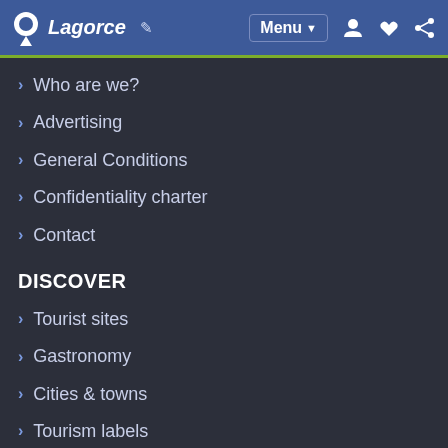Lagorce  Menu
Who are we?
Advertising
General Conditions
Confidentiality charter
Contact
DISCOVER
Tourist sites
Gastronomy
Cities & towns
Tourism labels
Themed itineraries
Custom itineraries
Photos
Panoramas
Tourism quiz
GOING OUT